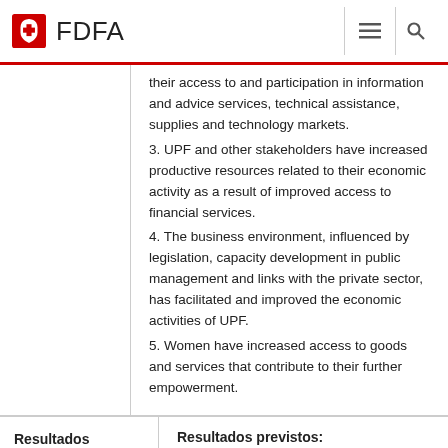FDFA
their access to and participation in information and advice services, technical assistance, supplies and technology markets.
3. UPF and other stakeholders have increased productive resources related to their economic activity as a result of improved access to financial services.
4. The business environment, influenced by legislation, capacity development in public management and links with the private sector, has facilitated and improved the economic activities of UPF.
5. Women have increased access to goods and services that contribute to their further empowerment.
Resultados
Resultados previstos:
Public and/or private actors introduce/improve mechanisms that channel the supply of products for UPF (…)